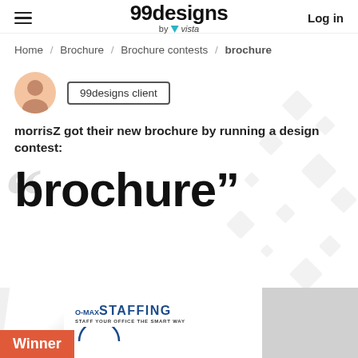99designs by vista | Log in
Home / Brochure / Brochure contests / brochure
[Figure (illustration): User avatar circle with person silhouette icon in peach/orange color, next to a badge reading '99designs client']
morrisZ got their new brochure by running a design contest:
brochure”
[Figure (photo): Winner brochure design showing O-MAX STAFFING logo with tagline 'STAFF YOUR OFFICE THE SMART WAY', with a red 'Winner' label overlay]